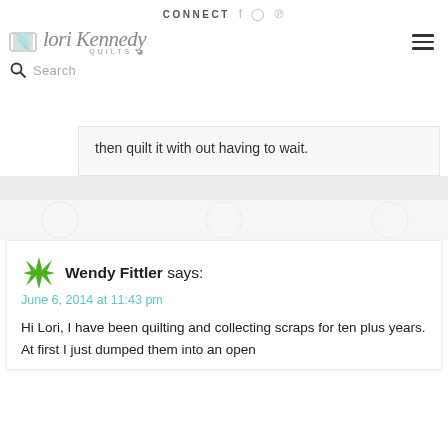CONNECT
[Figure (logo): Lori Kennedy Quilts logo with spool icon and script text]
Search
then quilt it with out having to wait.
Wendy Fittler says:
June 6, 2014 at 11:43 pm

Hi Lori, I have been quilting and collecting scraps for ten plus years. At first I just dumped them into an open